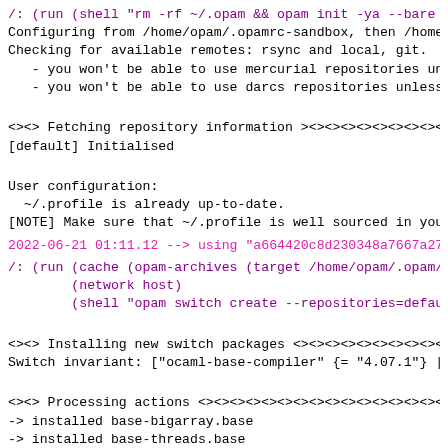/: (run (shell "rm -rf ~/.opam && opam init -ya --bare --
Configuring from /home/opam/.opamrc-sandbox, then /home/o
Checking for available remotes: rsync and local, git.
   - you won't be able to use mercurial repositories unles
   - you won't be able to use darcs repositories unless yo
<><> Fetching repository information ><><><><><><><><><
[default] Initialised
User configuration:
  ~/.profile is already up-to-date.
[NOTE] Make sure that ~/.profile is well sourced in your
2022-06-21 01:11.12 --> using "a664420c8d230348a7667a27e
/: (run (cache (opam-archives (target /home/opam/.opam/do
        (network host)
        (shell "opam switch create --repositories=default
<><> Installing new switch packages <><><><><><><><><>
Switch invariant: ["ocaml-base-compiler" {= "4.07.1"} | "
<><> Processing actions <><><><><><><><><><><><><><><><>
-> installed base-bigarray.base
-> installed base-threads.base
-> installed base-unix.base
-> retrieved ocaml-base-compiler.4.07.1  (cached)
-> installed ocaml-base-compiler.4.07.1
-> installed ocaml-config.1